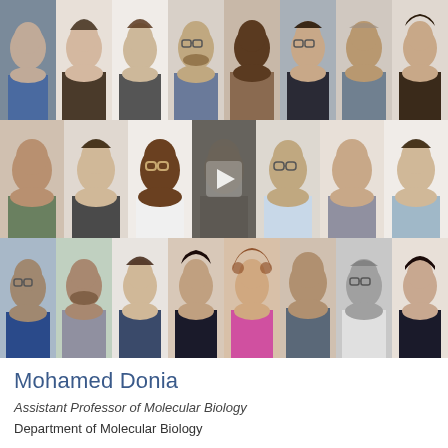[Figure (photo): Three rows of headshot portraits of researchers. Row 1: 8 people (4 men, 4 women). Row 2: 7 people with a video play button overlay on the 4th portrait. Row 3: 8 people.]
Mohamed Donia
Assistant Professor of Molecular Biology
Department of Molecular Biology
“Production and Metabolism of Bioactive Small Molecules by the Human Microbiome”